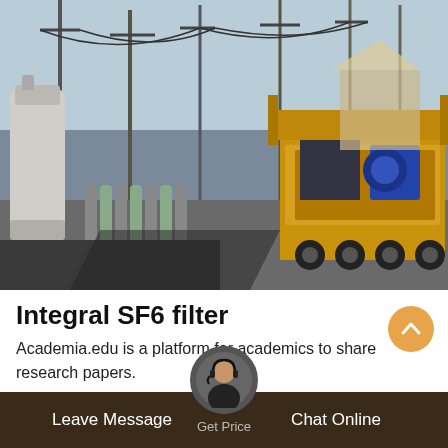[Figure (photo): Outdoor electrical substation with high-voltage equipment, gas cylinders/SF6 equipment in foreground, yellow industrial truck/vehicle on the right side, metal structures and power lines in background, clear sky.]
Integral SF6 filter
Academia.edu is a platform for academics to share research papers.
Leave Message   Chat Online